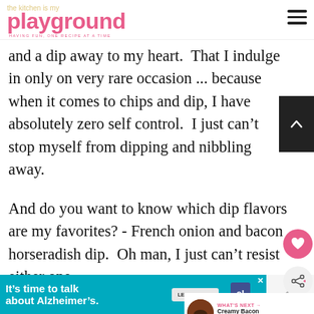the kitchen is my playground — HAVING FUN, ONE RECIPE AT A TIME
and a dip away to my heart.  That I indulge in only on very rare occasion ... because when it comes to chips and dip, I have absolutely zero self control.  I just can't stop myself from dipping and nibbling away.
And do you want to know which dip flavors are my favorites? - French onion and bacon horseradish dip.  Oh man, I just can't resist either one.
[Figure (other): WHAT'S NEXT arrow with thumbnail image and text: Creamy Bacon Guacamole...]
[Figure (other): Advertisement banner: It's time to talk about Alzheimer's. LEARN MORE button. Alzheimer's Association logo. Close button.]